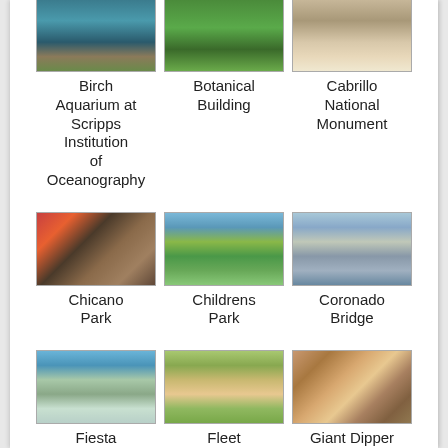[Figure (photo): Partial photo of Birch Aquarium at Scripps Institution of Oceanography]
Birch Aquarium at Scripps Institution of Oceanography
[Figure (photo): Partial photo of Botanical Building]
Botanical Building
[Figure (photo): Partial photo of Cabrillo National Monument]
Cabrillo National Monument
[Figure (photo): Photo of Chicano Park]
Chicano Park
[Figure (photo): Photo of Childrens Park]
Childrens Park
[Figure (photo): Photo of Coronado Bridge]
Coronado Bridge
[Figure (photo): Photo of Fiesta Island Park]
Fiesta Island Park
[Figure (photo): Photo of Fleet Science Center]
Fleet Science Center
[Figure (photo): Photo of Giant Dipper Roller Coaster]
Giant Dipper Roller Coaster